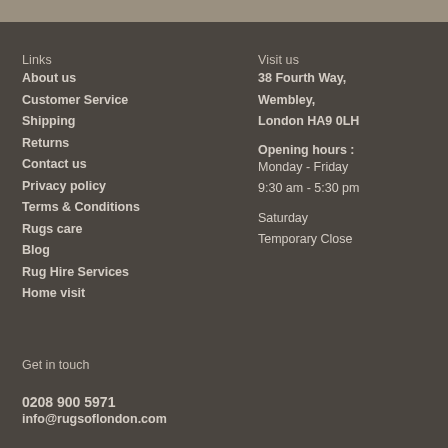Links
About us
Customer Service
Shipping
Returns
Contact us
Privacy policy
Terms & Conditions
Rugs care
Blog
Rug Hire Services
Home visit
Visit us
38 Fourth Way, Wembley, London HA9 0LH
Opening hours :
Monday - Friday
9:30 am - 5:30 pm
Saturday
Temporary Close
Get in touch
0208 900 5971
info@rugsoflondon.com